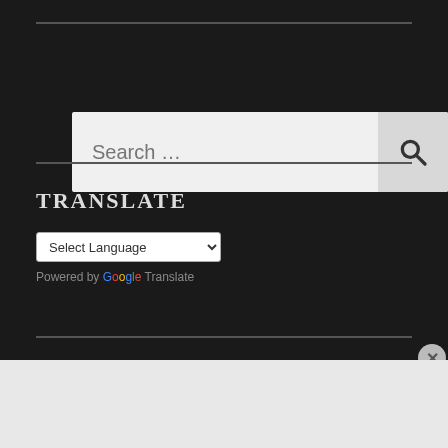[Figure (screenshot): Search bar widget with placeholder text 'Search ...' and a magnifying glass icon button on a dark background]
TRANSLATE
[Figure (screenshot): Select Language dropdown widget for Google Translate with 'Powered by Google Translate' label]
[Figure (screenshot): Advertisement banner: 'Create surveys, polls, quizzes, and forms.' with WordPress and SurveyMonkey logos on a dark blue background]
ADVERTISEMENT